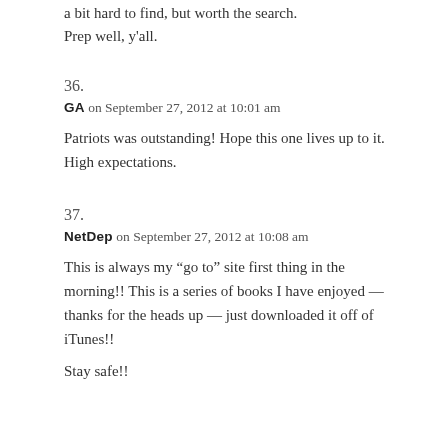a bit hard to find, but worth the search.
Prep well, y'all.
36.
GA on September 27, 2012 at 10:01 am
Patriots was outstanding! Hope this one lives up to it. High expectations.
37.
NetDep on September 27, 2012 at 10:08 am
This is always my “go to” site first thing in the morning!! This is a series of books I have enjoyed — thanks for the heads up — just downloaded it off of iTunes!!

Stay safe!!